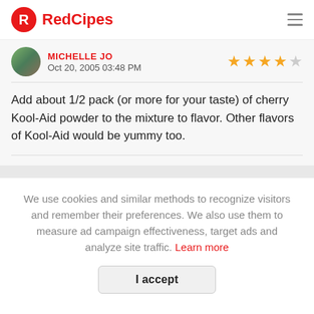RedCipes
MICHELLE JO
Oct 20, 2005 03:48 PM
Add about 1/2 pack (or more for your taste) of cherry Kool-Aid powder to the mixture to flavor. Other flavors of Kool-Aid would be yummy too.
We use cookies and similar methods to recognize visitors and remember their preferences. We also use them to measure ad campaign effectiveness, target ads and analyze site traffic. Learn more
I accept